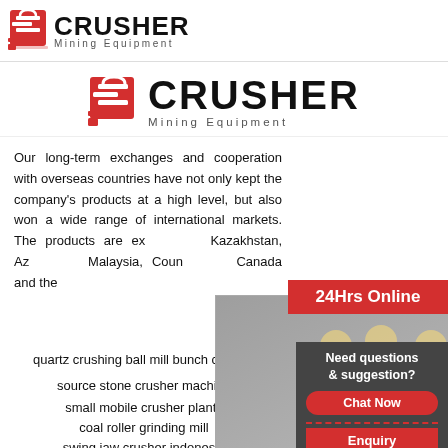[Figure (logo): CRUSHER Mining Equipment logo - top left header with red shopping bag icon and bold black text]
[Figure (logo): Large CRUSHER Mining Equipment logo centered below header - oversized red icon and bold black text]
Our long-term exchanges and cooperation with overseas countries have not only kept the company's products at a high level, but also won a wide range of international markets. The products are exported to Kazakhstan, Azerbaijan, Malaysia, Countries ... Canada and the ...
[Figure (photo): Live Chat popup overlay showing construction workers in yellow hard hats and a female customer service rep with headset. Red LIVE CHAT text with 'Click for a Free Consultation'. Chat now and Chat later buttons at bottom.]
quartz crushing ball mill bunch crusher
source stone crusher machine
small mobile crusher plants
coal roller grinding mill
swing jaw crusher indonesia
[Figure (infographic): Right sidebar with 24Hrs Online red badge, Need questions & suggestion section with Chat Now button, Enquiry button, and limingjlmofen@sina.com email]